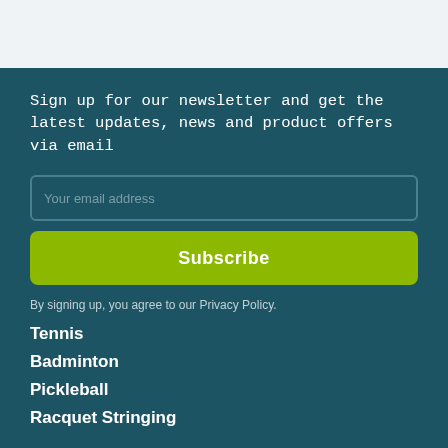Sign up for our newsletter and get the latest updates, news and product offers via email
Your email address
Subscribe
By signing up, you agree to our Privacy Policy.
Tennis
Badminton
Pickleball
Racquet Stringing